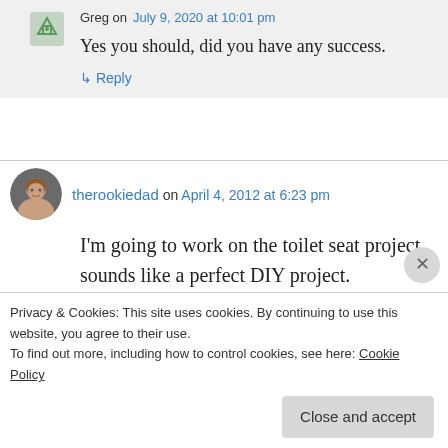Greg on July 9, 2020 at 10:01 pm
Yes you should, did you have any success.
↳ Reply
therookiedad on April 4, 2012 at 6:23 pm
I'm going to work on the toilet seat project sounds like a perfect DIY project.
↳ Reply
Privacy & Cookies: This site uses cookies. By continuing to use this website, you agree to their use. To find out more, including how to control cookies, see here: Cookie Policy
Close and accept